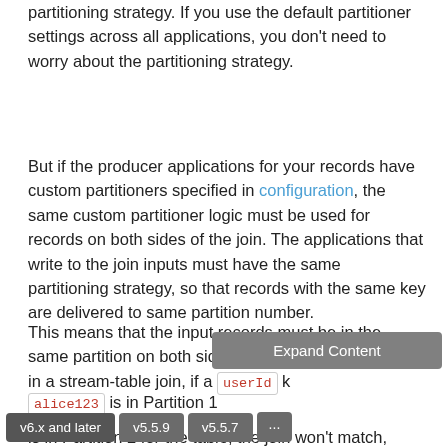partitioning strategy. If you use the default partitioner settings across all applications, you don't need to worry about the partitioning strategy.
But if the producer applications for your records have custom partitioners specified in configuration, the same custom partitioner logic must be used for records on both sides of the join. The applications that write to the join inputs must have the same partitioning strategy, so that records with the same key are delivered to same partition number.
This means that the input records must be in the same partition on both sides of the join. For example, in a stream-table join, if a userId k... alice123 is in Partition 1 for the stream, but ... is in Partition 2 for the table, the join won't match, even